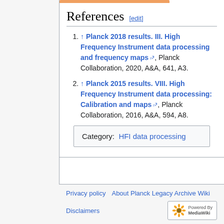References [edit]
↑ Planck 2018 results. III. High Frequency Instrument data processing and frequency maps, Planck Collaboration, 2020, A&A, 641, A3.
↑ Planck 2015 results. VIII. High Frequency Instrument data processing: Calibration and maps, Planck Collaboration, 2016, A&A, 594, A8.
Category:  HFI data processing
Privacy policy  About Planck Legacy Archive Wiki  Disclaimers  Powered by MediaWiki